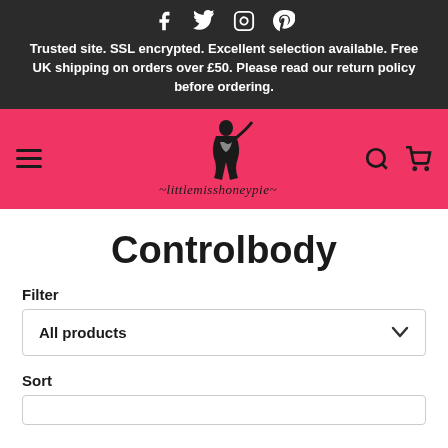Social icons: Facebook, Twitter, Instagram, Pinterest
Trusted site. SSL encrypted. Excellent selection available. Free UK shipping on orders over £50. Please read our return policy before ordering.
[Figure (logo): littlemisshoneypie logo on pink background with hamburger menu, search icon, and cart icon]
Controlbody
Filter
All products
Sort